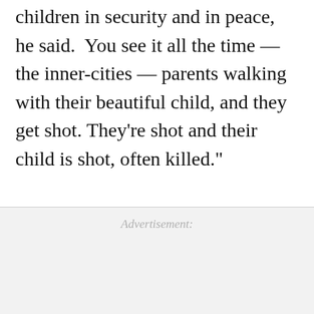children in security and in peace,  he said.  You see it all the time — the inner-cities — parents walking with their beautiful child, and they get shot. They're shot and their child is shot, often killed."
Advertisement: